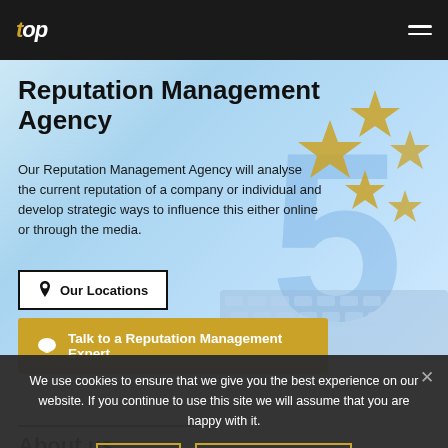top
Reputation Management Agency
Our Reputation Management Agency will analyse the current reputation of a company or individual and develop strategic ways to influence this either online or through the media.
Our Locations
Talk to a Reputation Management Expert
We use cookies to ensure that we give you the best experience on our website. If you continue to use this site we will assume that you are happy with it.
OK
PRIVACY POLICY
About us